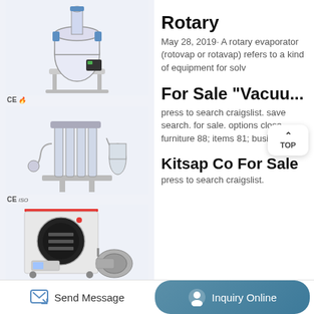[Figure (photo): Laboratory glass reactor vessel on a stand with blue fittings, CE certification mark visible]
[Figure (photo): Multi-tube fermentation or reaction system with glass vessels and metal fittings, CE and ISO marks]
[Figure (photo): Freeze dryer / vacuum drying machine with circular door and vacuum pump]
[Figure (photo): Two small thumbnail images: glass Erlenmeyer flasks and a mechanical component]
Rotary
May 28, 2019· A rotary evaporator (rotovap or rotavap) refers to a kind of equipment for solv
For Sale "Vacuu...
press to search craigslist. save search. for sale. options close. furniture 88; items 81; business 77;
Kitsap Co For Sale
press to search craigslist.
Send Message
Inquiry Online